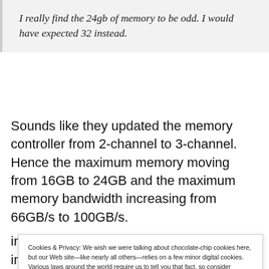I really find the 24gb of memory to be odd. I would have expected 32 instead.
Sounds like they updated the memory controller from 2-channel to 3-channel. Hence the maximum memory moving from 16GB to 24GB and the maximum memory bandwidth increasing from 66GB/s to 100GB/s.
Cookies & Privacy: We wish we were talking about chocolate-chip cookies here, but our Web site—like nearly all others—relies on a few minor digital cookies. Various laws around the world require us to tell you that fact, so consider yourself informed, if not nourished. By continuing to use this site, you agree to our use of these cookies. Cookie and Privacy Notice
increase from 3.2 GHz in M1 to 3.49 GHz in M2) and